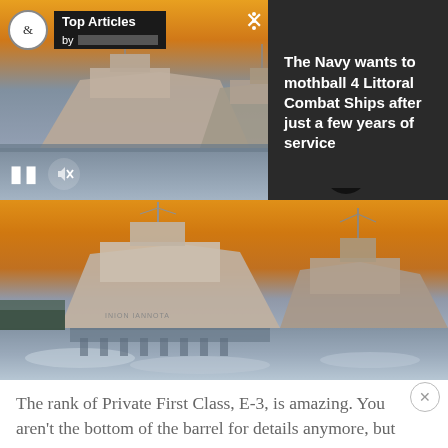[Figure (screenshot): Top Articles widget overlay showing naval ships at sunset in upper portion, with dark right panel, controls, and 'Top Articles by' branding bar]
The Navy wants to mothball 4 Littoral Combat Ships after just a few years of service
[Figure (photo): Large photo of Littoral Combat Ships docked at a naval shipyard at sunset, icy water in foreground]
The rank of Private First Class, E-3, is amazing. You aren't the bottom of the barrel for details anymore, but